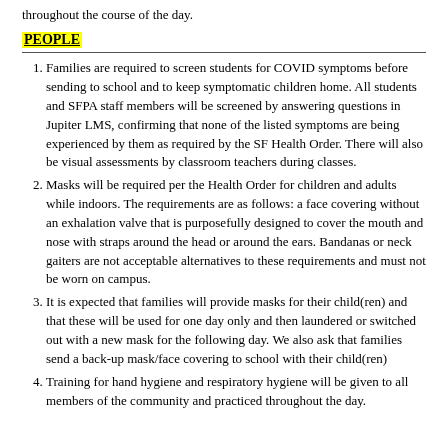throughout the course of the day.
PEOPLE
Families are required to screen students for COVID symptoms before sending to school and to keep symptomatic children home. All students and SFPA staff members will be screened by answering questions in Jupiter LMS, confirming that none of the listed symptoms are being experienced by them as required by the SF Health Order. There will also be visual assessments by classroom teachers during classes.
Masks will be required per the Health Order for children and adults while indoors. The requirements are as follows: a face covering without an exhalation valve that is purposefully designed to cover the mouth and nose with straps around the head or around the ears. Bandanas or neck gaiters are not acceptable alternatives to these requirements and must not be worn on campus.
It is expected that families will provide masks for their child(ren) and that these will be used for one day only and then laundered or switched out with a new mask for the following day. We also ask that families send a back-up mask/face covering to school with their child(ren)
Training for hand hygiene and respiratory hygiene will be given to all members of the community and practiced throughout the day.